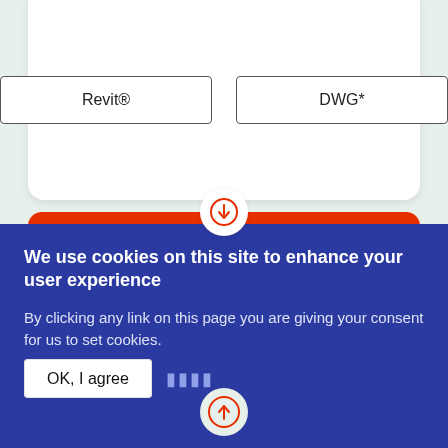[Figure (infographic): Top white card showing two format buttons: Revit® and DWG*, with a download/connector icon below, an orange-red IFC card in the middle, and a partial white card at the bottom with an upload circle connector icon.]
We use cookies on this site to enhance your user experience
By clicking any link on this page you are giving your consent for us to set cookies.
OK, I agree